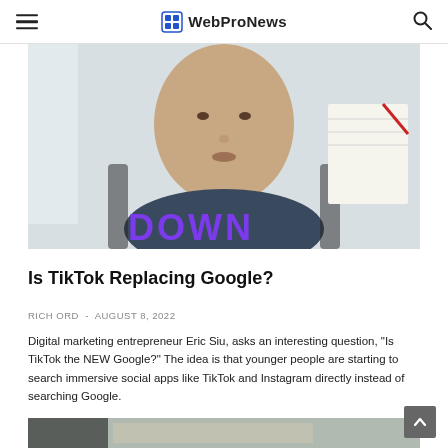WebProNews
[Figure (photo): Close-up of a man speaking, wearing a dark shirt, with text 'DOWN' visible at the bottom of the frame]
Is TikTok Replacing Google?
RICH ORD  -  AUGUST 8, 2022
Digital marketing entrepreneur Eric Siu, asks an interesting question, "Is TikTok the NEW Google?" The idea is that younger people are starting to search immersive social apps like TikTok and Instagram directly instead of searching Google.
[Figure (photo): Second article image, partially visible at bottom of page]